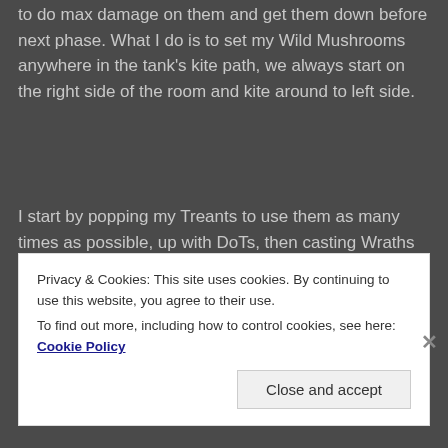to do max damage on them and get them down before next phase. What I do is to set my Wild Mushrooms anywhere in the tank's kite path, we always start on the right side of the room and kite around to left side.
I start by popping my Treants to use them as many times as possible, up with DoTs, then casting Wraths and Starsurge to get Lunar Eclipse, Starfall before the adds spawn cause it will be off CD again fast with the glyph of
Privacy & Cookies: This site uses cookies. By continuing to use this website, you agree to their use.
To find out more, including how to control cookies, see here: Cookie Policy